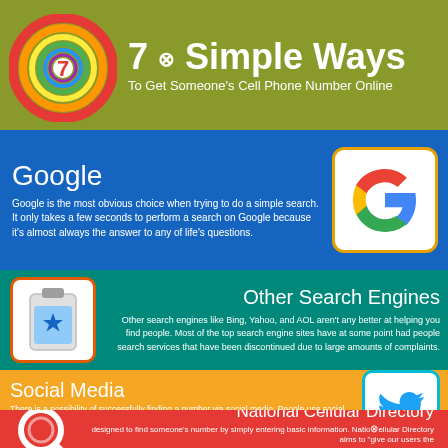7 Simple Ways
To Get Someone's Cell Phone Number Online
Google
Google is the most obvious choice when trying to do a simple search. It only takes a few seconds to perform a search on Google because it's almost always the answer to any of life's questions.
Other Search Engines
Other search engines like Bing, Yahoo, and AOL aren't any better at helping you find people. Most of the top search engine sites have at some point had people search services that have been discontinued due to large amounts of complaints.
Social Media
There is a possibility of successfully finding a number via social media. People use social media in various ways to share information with each other. If someone has their number listed on a social media website, you may be able to reach them.
National Cellular Directory
designed to find someone's number by simply entering basic information. National Cellular Directory aims to "give our users the most useful, current, accurate data possible